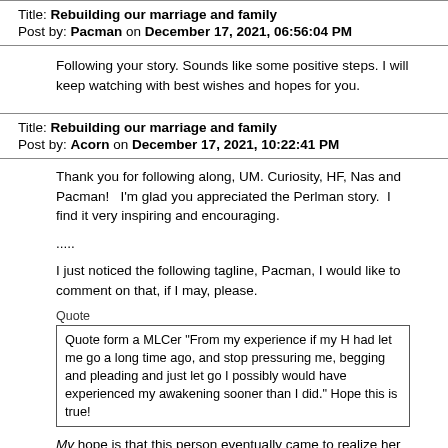Title: Rebuilding our marriage and family
Post by: Pacman on December 17, 2021, 06:56:04 PM
Following your story. Sounds like some positive steps. I will keep watching with best wishes and hopes for you.
Title: Rebuilding our marriage and family
Post by: Acorn on December 17, 2021, 10:22:41 PM
Thank you for following along, UM. Curiosity, HF, Nas and Pacman!   I'm glad you appreciated the Perlman story.  I find it very inspiring and encouraging.
.....
I just noticed the following tagline, Pacman, I would like to comment on that, if I may, please.
Quote
Quote form a MLCer "From my experience if my H had let me go a long time ago, and stop pressuring me, begging and pleading and just let go I possibly would have experienced my awakening sooner than I did." Hope this is true!
My hope is that this person eventually came to realize her statement was about blaming another person for her tardy 'awakening.'